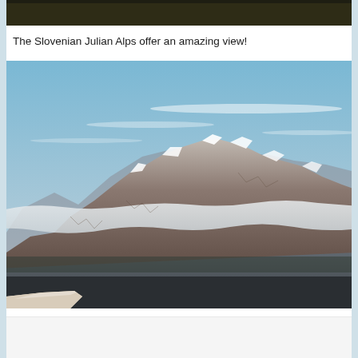[Figure (photo): Dark strip at top — partial view of a previous photo showing dark foliage/trees against sky]
The Slovenian Julian Alps offer an amazing view!
[Figure (photo): Aerial photograph of the Slovenian Julian Alps showing snow-capped mountain peaks rising above clouds, with a valley below and an airplane wing tip visible in the lower left corner. Blue sky with thin wispy clouds above the mountains.]